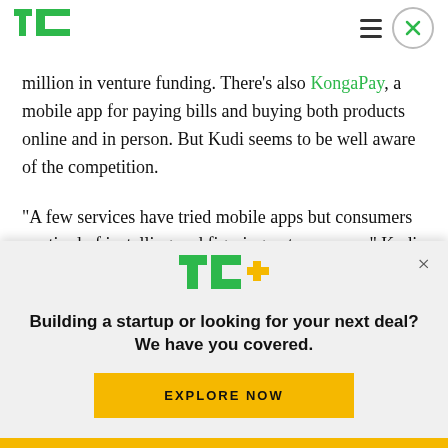TechCrunch navigation header with logo, hamburger menu and close button
million in venture funding. There's also KongaPay, a mobile app for paying bills and buying both products online and in person. But Kudi seems to be well aware of the competition.
“A few services have tried mobile apps but consumers are tired of installing and figuring out new apps,” Kudi co-founder Pelumi Aboluwarin told
[Figure (logo): TechCrunch TC+ logo with green TC letters and yellow plus sign]
Building a startup or looking for your next deal? We have you covered.
EXPLORE NOW